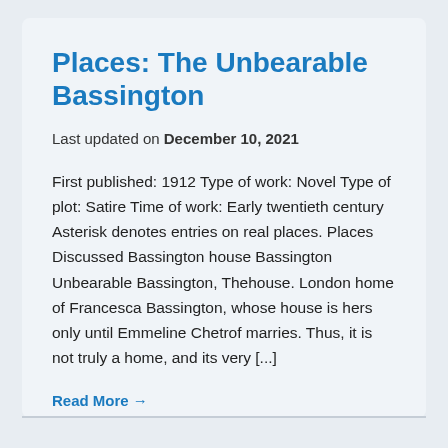Places: The Unbearable Bassington
Last updated on December 10, 2021
First published: 1912 Type of work: Novel Type of plot: Satire Time of work: Early twentieth century Asterisk denotes entries on real places. Places Discussed Bassington house Bassington Unbearable Bassington, Thehouse. London home of Francesca Bassington, whose house is hers only until Emmeline Chetrof marries. Thus, it is not truly a home, and its very [...]
Read More →